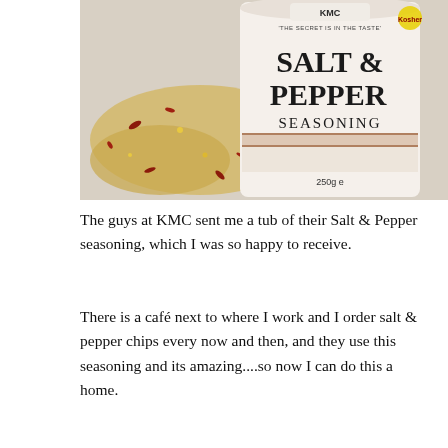[Figure (photo): A white cylindrical tub of KMC Salt & Pepper Seasoning (250g) with the tagline 'The Secret is in the Taste', placed among scattered salt and pepper seasoning spices on a white surface.]
The guys at KMC sent me a tub of their Salt & Pepper seasoning, which I was so happy to receive.
There is a café next to where I work and I order salt & pepper chips every now and then, and they use this seasoning and its amazing....so now I can do this a home.